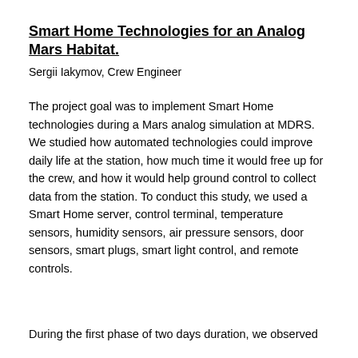Smart Home Technologies for an Analog Mars Habitat.
Sergii Iakymov, Crew Engineer
The project goal was to implement Smart Home technologies during a Mars analog simulation at MDRS. We studied how automated technologies could improve daily life at the station, how much time it would free up for the crew, and how it would help ground control to collect data from the station. To conduct this study, we used a Smart Home server, control terminal, temperature sensors, humidity sensors, air pressure sensors, door sensors, smart plugs, smart light control, and remote controls.
During the first phase of two days duration, we observed